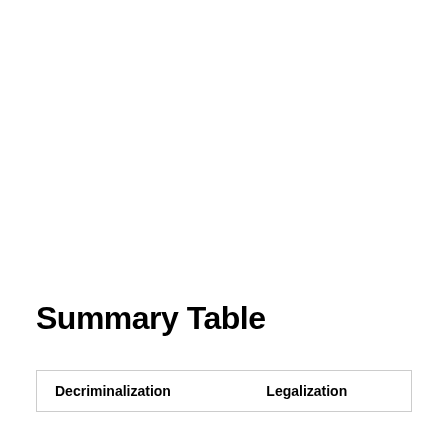Summary Table
| Decriminalization | Legalization |
| --- | --- |